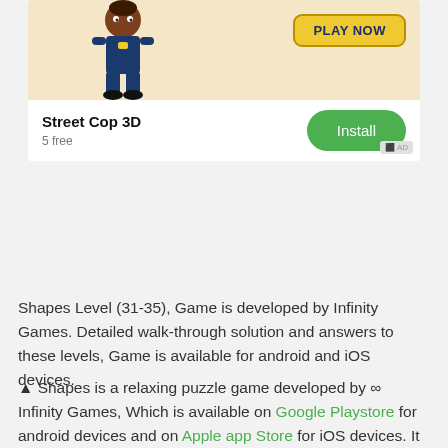[Figure (screenshot): Mobile app advertisement for Street Cop 3D game showing a cartoon police character, a yellow 'PLAY NOW' button, and a green 'Install' button. Shows '5 free' and an AD badge.]
Shapes Level (31-35), Game is developed by Infinity Games. Detailed walk-through solution and answers to these levels, Game is available for android and iOS devices.
▲ Shapes is a relaxing puzzle game developed by ∞ Infinity Games, Which is available on Google Playstore for android devices and on Apple app Store for iOS devices. It is a very easy to play game with no stress on mind with peaceful and comforting soundtrack, brilliant graphics. It's really clean and polished, game play and graphics. The controls